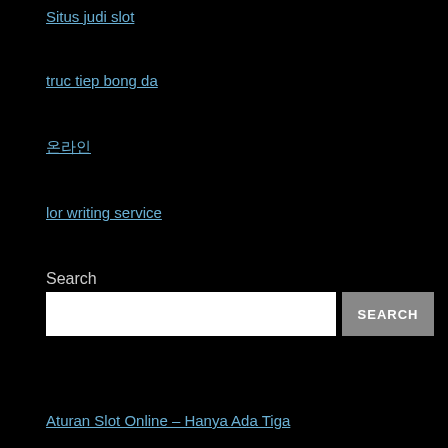Situs judi slot
truc tiep bong da
온라인
lor writing service
Search
Aturan Slot Online – Hanya Ada Tiga